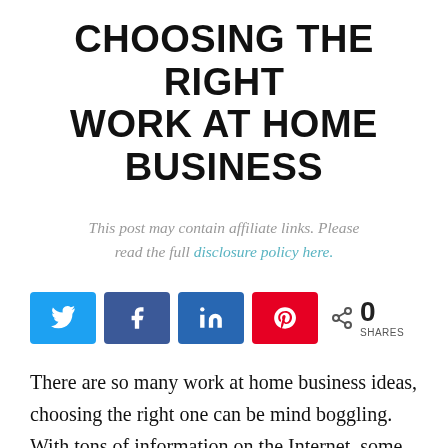CHOOSING THE RIGHT WORK AT HOME BUSINESS
This post may contain affiliate links. Please read the full disclosure policy here.
[Figure (infographic): Social share buttons: Twitter (blue), Facebook (blue), LinkedIn (dark blue), Pinterest (red), and a share count showing 0 SHARES]
There are so many work at home business ideas, choosing the right one can be mind boggling. With tons of information on the Internet, some promising the moon, how do